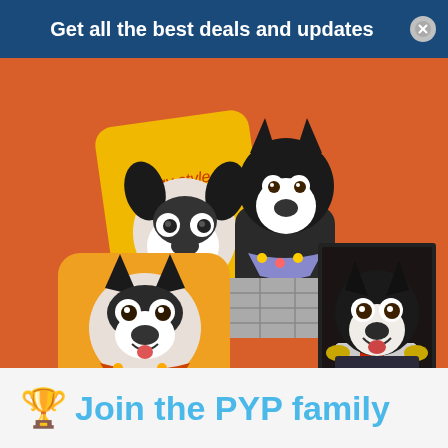Get all the best deals and updates
[Figure (photo): Product photo on orange background showing Boston Terrier dog merchandise: a yellow 'Doggy Style' throw pillow with dog face print, a live Boston Terrier sitting in a metal box wearing a bandana, an orange pillow with Boston Terrier face print wearing a bandana, and a framed portrait painting of a Boston Terrier dressed in a military general uniform with red collar and gold epaulettes]
🏆 Join the PYP family